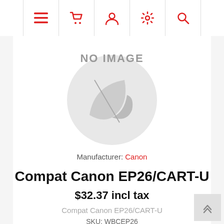Navigation bar with menu, cart, user, settings, and search icons
[Figure (other): No image placeholder with a greyed-out leaf/camera icon and text 'NO IMAGE']
Manufacturer: Canon
Compat Canon EP26/CART-U
$32.37 incl tax
Compat Canon EP26/CART-U
SKU: WBCEP26